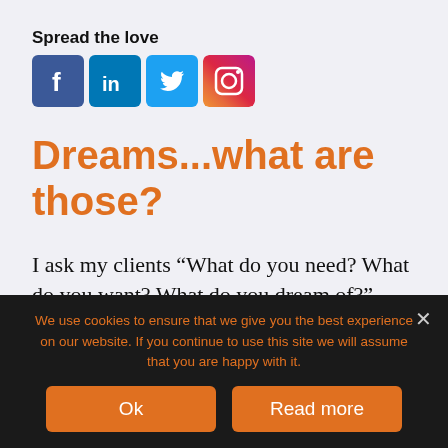Spread the love
[Figure (infographic): Four social media share buttons: Facebook (blue), LinkedIn (blue), Twitter (light blue), Instagram (gradient)]
Dreams...what are those?
I ask my clients “What do you need? What do you want? What do you dream of?”
Think of it like this: I need food, I want to go out to eat, I dream of having a personal
We use cookies to ensure that we give you the best experience on our website. If you continue to use this site we will assume that you are happy with it.